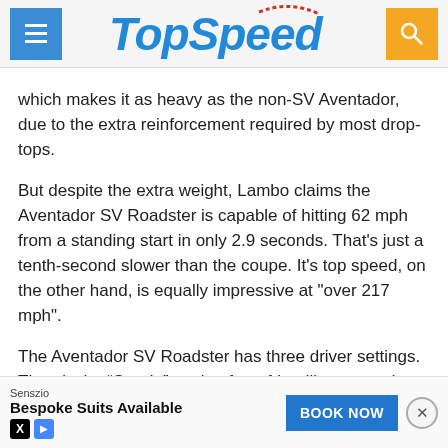TopSpeed
which makes it as heavy as the non-SV Aventador, due to the extra reinforcement required by most drop-tops.
But despite the extra weight, Lambo claims the Aventador SV Roadster is capable of hitting 62 mph from a standing start in only 2.9 seconds. That's just a tenth-second slower than the coupe. It's top speed, on the other hand, is equally impressive at "over 217 mph".
The Aventador SV Roadster has three driver settings. There's the “Strada” setting for a friendlier on-road experience and the “Sport” conf... n the t... lly,
Senszio Bespoke Suits Available BOOK NOW